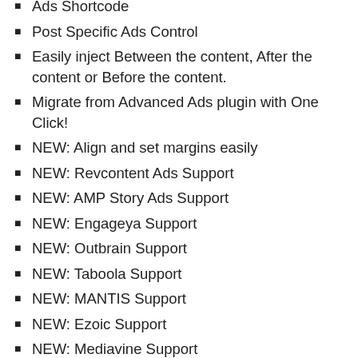Ads Shortcode
Post Specific Ads Control
Easily inject Between the content, After the content or Before the content.
Migrate from Advanced Ads plugin with One Click!
NEW: Align and set margins easily
NEW: Revcontent Ads Support
NEW: AMP Story Ads Support
NEW: Engageya Support
NEW: Outbrain Support
NEW: Taboola Support
NEW: MANTIS Support
NEW: Ezoic Support
NEW: Mediavine Support
NEW: ads.txt Support
NEW: MGID Support
NEW: Ads Performance Analytics with reports & insights (supports AMP as well)
NEW: View Per ad insights for reports offline and...